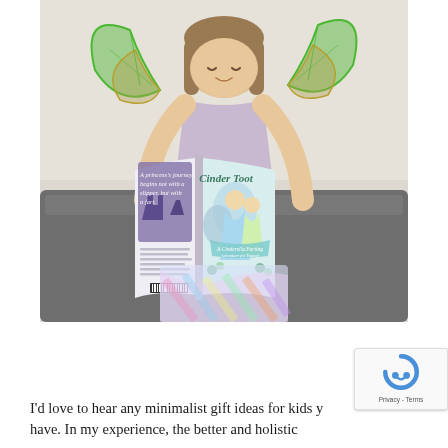[Figure (photo): A young girl with fairy wings sitting on a grey sofa, looking down and smiling while reading an open book. The book cover visible is titled 'Cinder Toot' with fairy-tale illustrations. The left inside page reads 'A princess's journey begins not with a slipper, but with a fart.']
I'd love to hear any minimalist gift ideas for kids y... (continues)